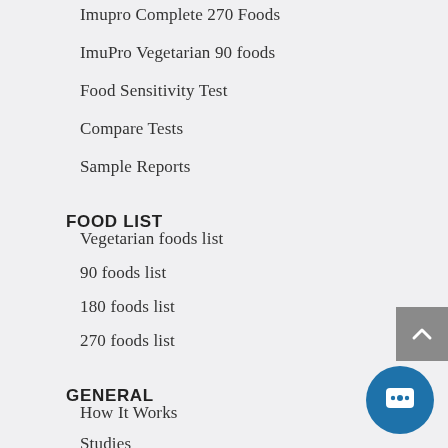Imupro Complete 270 Foods
ImuPro Vegetarian 90 foods
Food Sensitivity Test
Compare Tests
Sample Reports
FOOD LIST
Vegetarian foods list
90 foods list
180 foods list
270 foods list
GENERAL
How It Works
Studies
FAQ
App